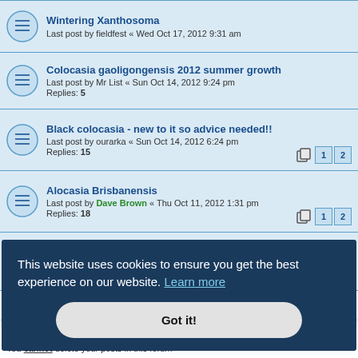Wintering Xanthosoma — Last post by fieldfest « Wed Oct 17, 2012 9:31 am
Colocasia gaoligongensis 2012 summer growth — Last post by Mr List « Sun Oct 14, 2012 9:24 pm — Replies: 5
Black colocasia - new to it so advice needed!! — Last post by ourarka « Sun Oct 14, 2012 6:24 pm — Replies: 15
Alocasia Brisbanensis — Last post by Dave Brown « Thu Oct 11, 2012 1:31 pm — Replies: 18
Eating Colocasia — Last post by GREVILLE « Tue Oct 09, 2012 10:24 pm — Replies: 12
New Topic
This website uses cookies to ensure you get the best experience on our website. Learn more
Got it!
You cannot edit your posts in this forum
You cannot delete your posts in this forum